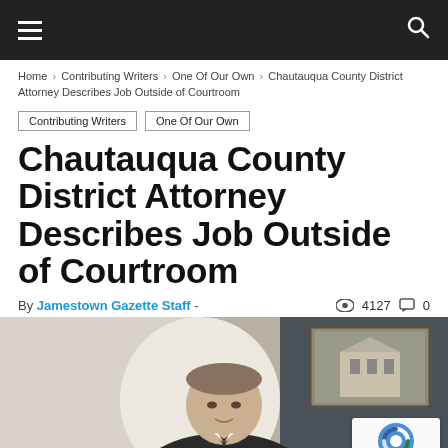Navigation bar with hamburger menu and search icon
Home › Contributing Writers › One Of Our Own › Chautauqua County District Attorney Describes Job Outside of Courtroom
Contributing Writers
One Of Our Own
Chautauqua County District Attorney Describes Job Outside of Courtroom
By Jamestown Gazette Staff - 👁 4127 💬 0
[Figure (photo): Photo of a man in a suit seated at a desk with a courthouse painting visible in the background, with a reCAPTCHA badge overlay in the lower right corner]